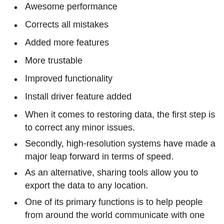Awesome performance
Corrects all mistakes
Added more features
More trustable
Improved functionality
Install driver feature added
When it comes to restoring data, the first step is to correct any minor issues.
Secondly, high-resolution systems have made a major leap forward in terms of speed.
As an alternative, sharing tools allow you to export the data to any location.
One of its primary functions is to help people from around the world communicate with one other more effectively.